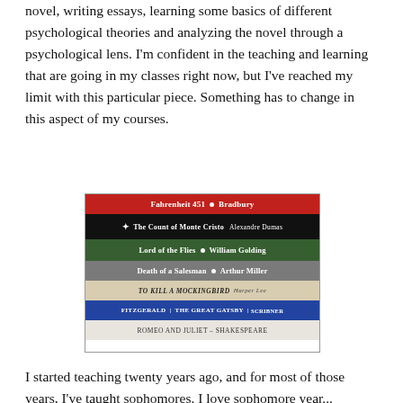novel, writing essays, learning some basics of different psychological theories and analyzing the novel through a psychological lens. I'm confident in the teaching and learning that are going in my classes right now, but I've reached my limit with this particular piece. Something has to change in this aspect of my courses.
[Figure (photo): A stack of book spines showing: Fahrenheit 451 by Bradbury (red), The Count of Monte Cristo by Alexandre Dumas (black), Lord of the Flies by William Golding (green), Death of a Salesman by Arthur Miller (gray), To Kill a Mockingbird by Harper Lee (tan), The Great Gatsby by Fitzgerald (blue), Romeo and Juliet by Shakespeare (cream/white)]
I started teaching twenty years ago, and for most of those years, I've taught sophomores. I love sophomore year...